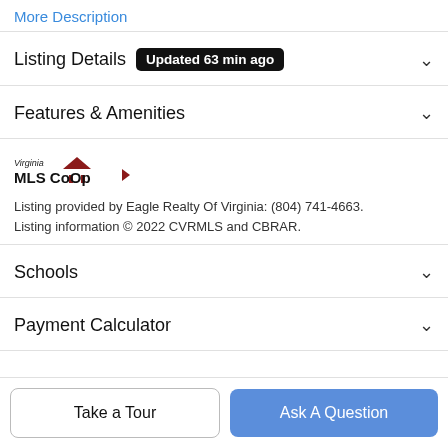More Description
Listing Details  Updated 63 min ago
Features & Amenities
[Figure (logo): Virginia MLS CoOp logo with house icon]
Listing provided by Eagle Realty Of Virginia: (804) 741-4663. Listing information © 2022 CVRMLS and CBRAR.
Schools
Payment Calculator
Take a Tour
Ask A Question